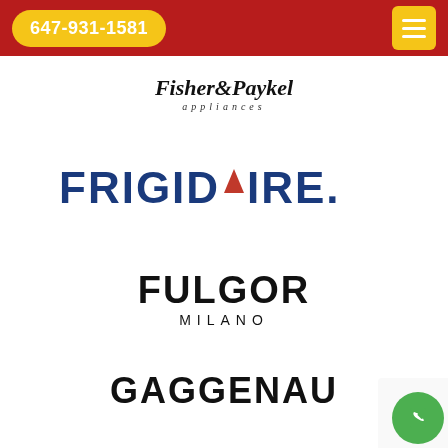647-931-1581
[Figure (logo): Fisher & Paykel appliances logo in italic serif font]
[Figure (logo): Frigidaire logo in bold navy blue sans-serif with red triangle accent]
[Figure (logo): Fulgor Milano logo in bold black sans-serif]
[Figure (logo): Gaggenau logo in bold black sans-serif]